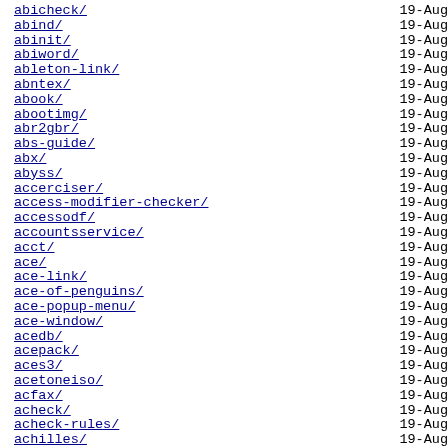abicheck/   19-Aug
abind/   19-Aug
abinit/   19-Aug
abiword/   19-Aug
ableton-link/   19-Aug
abntex/   19-Aug
abook/   19-Aug
abootimg/   19-Aug
abr2gbr/   19-Aug
abs-guide/   19-Aug
abx/   19-Aug
abyss/   19-Aug
accerciser/   19-Aug
access-modifier-checker/   19-Aug
accessodf/   19-Aug
accountsservice/   19-Aug
acct/   19-Aug
ace/   19-Aug
ace-link/   19-Aug
ace-of-penguins/   19-Aug
ace-popup-menu/   19-Aug
ace-window/   19-Aug
acedb/   19-Aug
acepack/   19-Aug
aces3/   19-Aug
acetoneiso/   19-Aug
acfax/   19-Aug
acheck/   19-Aug
acheck-rules/   19-Aug
achilles/   19-Aug